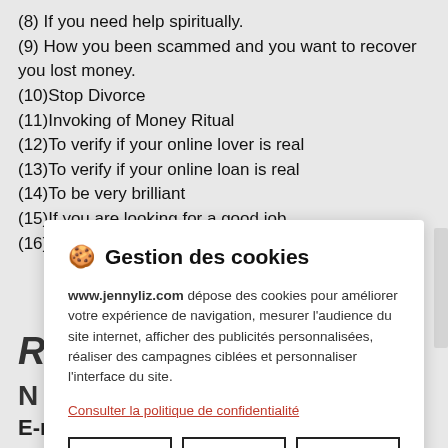(8) If you need help spiritually.
(9) How you been scammed and you want to recover you lost money.
(10)Stop Divorce
(11)Invoking of Money Ritual
(12)To verify if your online lover is real
(13)To verify if your online loan is real
(14)To be very brilliant
(15)If you are looking for a good job
(16)If you are old and want to look young
[Figure (screenshot): Cookie consent modal dialog with title 'Gestion des cookies', body text about www.jennyliz.com depositing cookies, a link 'Consulter la politique de confidentialité', and three buttons: REFUSER, PARAMÉTRER, ACCEPTER]